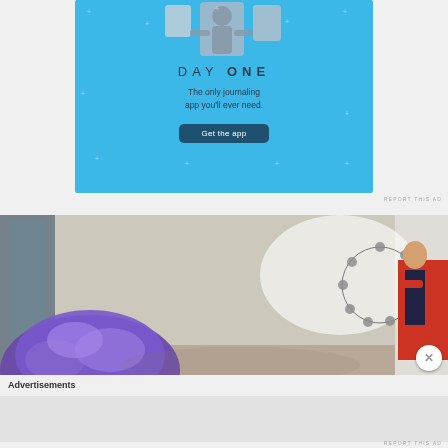[Figure (illustration): Day One journaling app advertisement on light blue background with app icons, title 'DAY ONE', tagline 'The only journaling app you'll ever need.' and a 'Get the app' button]
REPORT THIS AD
[Figure (photo): Photo showing a purple/blue fluffy object in foreground, a white wall with a circular wreath graphic, glass door on the left, and a person in red shirt on the right]
Advertisements
REPORT THIS AD